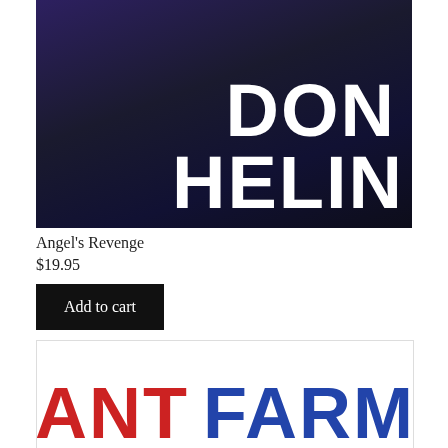[Figure (photo): Book cover for 'Angel's Revenge' by Don Helin. Dark navy/purple background with large white bold text reading 'DON HELIN'.]
Angel's Revenge
$19.95
Add to cart
[Figure (photo): Book cover showing large bold text 'ANT FARM' where 'ANT' is in red and 'FARM' is in blue, on a white background.]